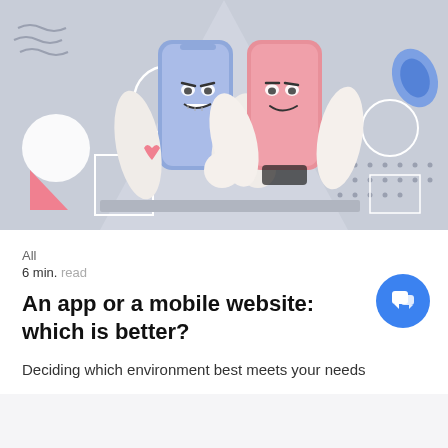[Figure (illustration): Illustration of two cartoon smartphone characters arm wrestling on a table, one blue-colored on the left and one pink-colored on the right, set against a light grey background with decorative geometric shapes (wavy lines, circles, triangles, diamond shapes, dots).]
All
6 min. read
An app or a mobile website: which is better?
Deciding which environment best meets your needs